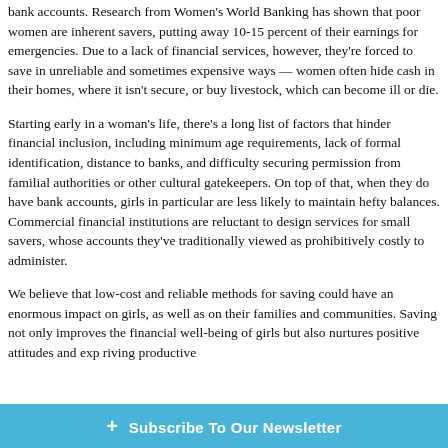bank accounts. Research from Women's World Banking has shown that poor women are inherent savers, putting away 10-15 percent of their earnings for emergencies. Due to a lack of financial services, however, they're forced to save in unreliable and sometimes expensive ways — women often hide cash in their homes, where it isn't secure, or buy livestock, which can become ill or die.
Starting early in a woman's life, there's a long list of factors that hinder financial inclusion, including minimum age requirements, lack of formal identification, distance to banks, and difficulty securing permission from familial authorities or other cultural gatekeepers. On top of that, when they do have bank accounts, girls in particular are less likely to maintain hefty balances. Commercial financial institutions are reluctant to design services for small savers, whose accounts they've traditionally viewed as prohibitively costly to administer.
We believe that low-cost and reliable methods for saving could have an enormous impact on girls, as well as on their families and communities. Saving not only improves the financial well-being of girls but also nurtures positive attitudes and exp... driving productive...
+ Subscribe To Our Newsletter